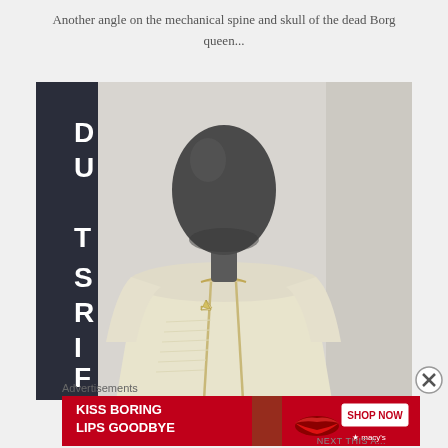Another angle on the mechanical spine and skull of the dead Borg queen...
[Figure (photo): A mannequin with a dark featureless head wearing a cream/beige Star Trek uniform jacket with gold trim and a Starfleet combadge, displayed in front of a dark banner reading 'FIRST D' (partial text visible).]
Advertisements
[Figure (screenshot): Advertisement banner for Macy's lipstick: red background with text 'KISS BORING LIPS GOODBYE' on the left, a woman's face with red lips in the center, and 'SHOP NOW' button with Macy's star logo on the right.]